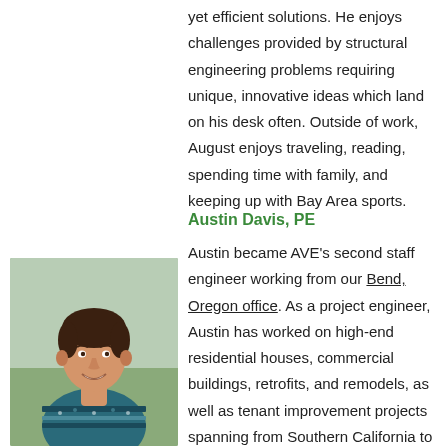yet efficient solutions. He enjoys challenges provided by structural engineering problems requiring unique, innovative ideas which land on his desk often. Outside of work, August enjoys traveling, reading, spending time with family, and keeping up with Bay Area sports.
Austin Davis, PE
[Figure (photo): Headshot photo of Austin Davis, a man in a patterned sweater smiling outdoors]
Austin became AVE's second staff engineer working from our Bend, Oregon office. As a project engineer, Austin has worked on high-end residential houses, commercial buildings, retrofits, and remodels, as well as tenant improvement projects spanning from Southern California to Northern Washington. Austin enjoys bringing efficient structural